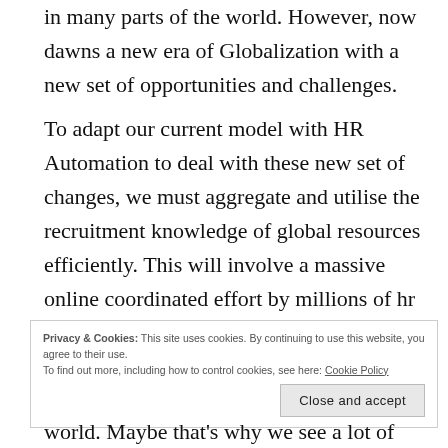in many parts of the world. However, now dawns a new era of Globalization with a new set of opportunities and challenges.
To adapt our current model with HR Automation to deal with these new set of changes, we must aggregate and utilise the recruitment knowledge of global resources efficiently. This will involve a massive online coordinated effort by millions of hr managers, employers and recruiters teaching and learning from each other a vast array of recruitment standards.
Privacy & Cookies: This site uses cookies. By continuing to use this website, you agree to their use.
To find out more, including how to control cookies, see here: Cookie Policy
Close and accept
world. Maybe that's why we see a lot of new